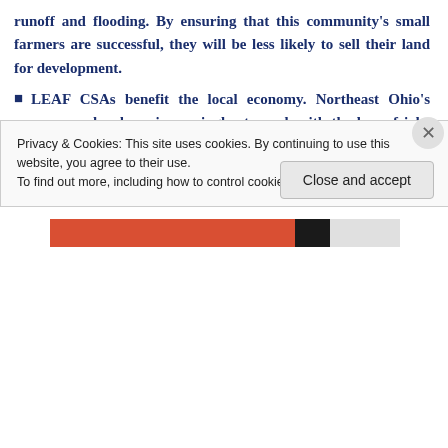runoff and flooding. By ensuring that this community's small farmers are successful, they will be less likely to sell their land for development.
LEAF CSAs benefit the local economy. Northeast Ohio's economy has been increasingly stressed, with the loss of jobs and “brain drain”. We spend approximately $3 Billion per year on food in Cuyahoga County. Keeping as much of that money in our region will greatly help our local economy.
Every LEAF CSA connects city dwellers to the countryside and farmers. Research shows that we all
Privacy & Cookies: This site uses cookies. By continuing to use this website, you agree to their use.
To find out more, including how to control cookies, see here: Cookie Policy